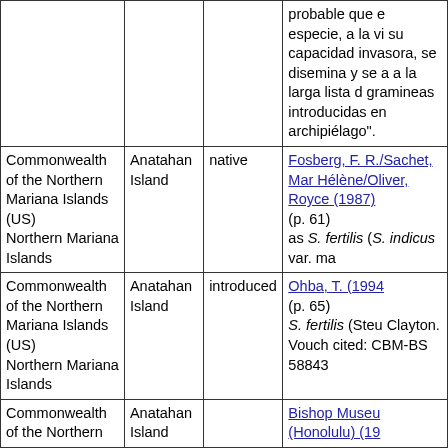| Location | Island | Status | Reference |
| --- | --- | --- | --- |
|  |  |  | probable que especie, a la vi su capacidad invasora, se disemina y se a a la larga lista gramineas introducidas en archipiélago". |
| Commonwealth of the Northern Mariana Islands (US)
Northern Mariana Islands | Anatahan Island | native | Fosberg, F. R./Sachet, Mar Hélène/Oliver, Royce (1987) (p. 61) as S. fertilis (S. indicus var. ma |
| Commonwealth of the Northern Mariana Islands (US)
Northern Mariana Islands | Anatahan Island | introduced | Ohba, T. (1994 (p. 65) S. fertilis (Steu Clayton. Vouch cited: CBM-BS 58843 |
| Commonwealth of the Northern | Anatahan Island |  | Bishop Museu (Honolulu) (19 |